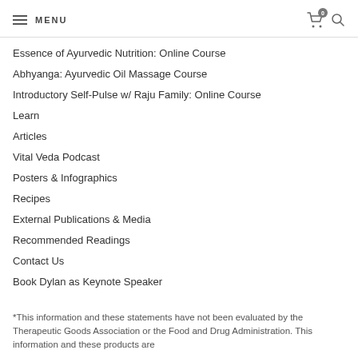MENU
Essence of Ayurvedic Nutrition: Online Course
Abhyanga: Ayurvedic Oil Massage Course
Introductory Self-Pulse w/ Raju Family: Online Course
Learn
Articles
Vital Veda Podcast
Posters & Infographics
Recipes
External Publications & Media
Recommended Readings
Contact Us
Book Dylan as Keynote Speaker
*This information and these statements have not been evaluated by the Therapeutic Goods Association or the Food and Drug Administration. This information and these products are